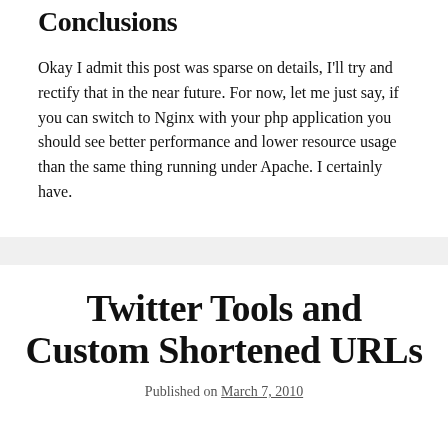Conclusions
Okay I admit this post was sparse on details, I'll try and rectify that in the near future. For now, let me just say, if you can switch to Nginx with your php application you should see better performance and lower resource usage than the same thing running under Apache. I certainly have.
Twitter Tools and Custom Shortened URLs
Published on March 7, 2010